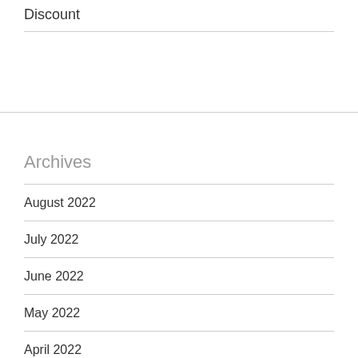Discount
Archives
August 2022
July 2022
June 2022
May 2022
April 2022
March 2022